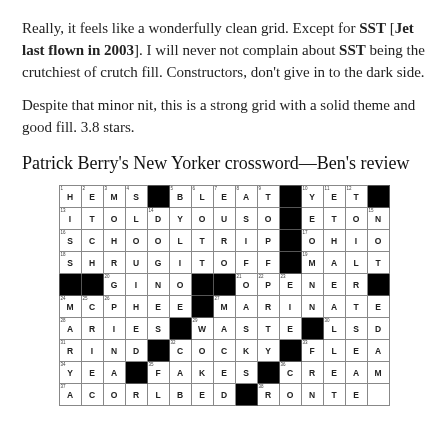Really, it feels like a wonderfully clean grid. Except for SST [Jet last flown in 2003]. I will never not complain about SST being the crutchiest of crutch fill. Constructors, don't give in to the dark side.
Despite that minor nit, this is a strong grid with a solid theme and good fill. 3.8 stars.
Patrick Berry's New Yorker crossword—Ben's review
[Figure (other): Crossword puzzle grid showing partial fill with black and white squares, letters filled in for clues. Rows include: HEMS, BLEAT, YET; ITOLDYOUSO, ETON; SCHOOLTRIP, OHIO; SHRUGITOFF, MALT; GINO, OPENER; MCPHEE, MARINATE; ARIES, WASTE, LSD; RIND, COCKY, FLEA; YEA, FAKES, CREAM; and a partial bottom row.]